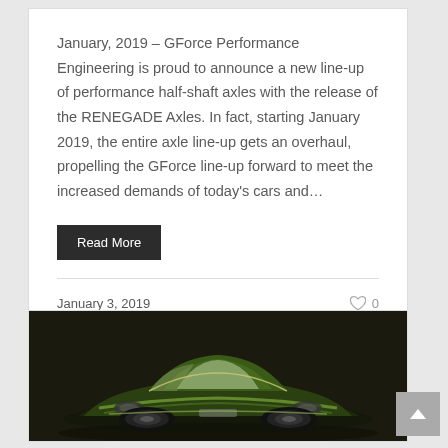January, 2019 – GForce Performance Engineering is proud to announce a new line-up of performance half-shaft axles with the release of the RENEGADE Axles. In fact, starting January 2019, the entire axle line-up gets an overhaul, propelling the GForce line-up forward to meet the increased demands of today's cars and…
Read More
January 3, 2019
[Figure (photo): A green classic/muscle car rendered in 3D, shown from a three-quarter front angle against a dark background.]